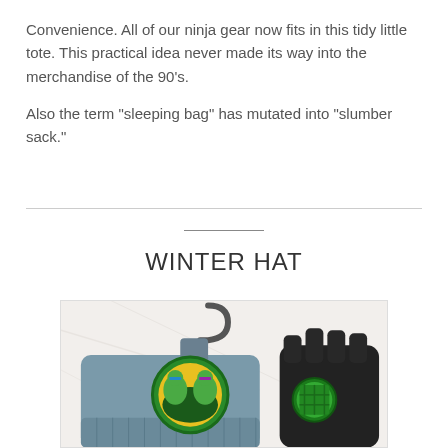Convenience. All of our ninja gear now fits in this tidy little tote. This practical idea never made its way into the merchandise of the 90's.

Also the term "sleeping bag" has mutated into "slumber sack."
WINTER HAT
[Figure (photo): Photo of a Teenage Mutant Ninja Turtles winter hat/gloves set on a white marble surface. A blue-grey knit hat with a TMNT logo badge showing the turtles. A retail hanger tag is visible. Black glove also visible.]